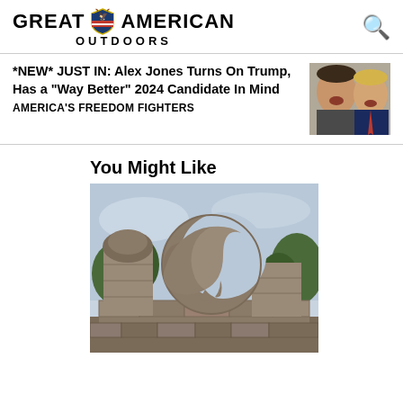[Figure (logo): Great American Outdoors logo with shield emblem and search icon]
*NEW* JUST IN: Alex Jones Turns On Trump, Has a "Way Better" 2024 Candidate In Mind
AMERICA'S FREEDOM FIGHTERS
[Figure (photo): Thumbnail showing Alex Jones and Donald Trump side by side]
You Might Like
[Figure (photo): Stone sculpture/monument with crescent moon shape, resembling Coral Castle or similar stone structure, with trees in background]